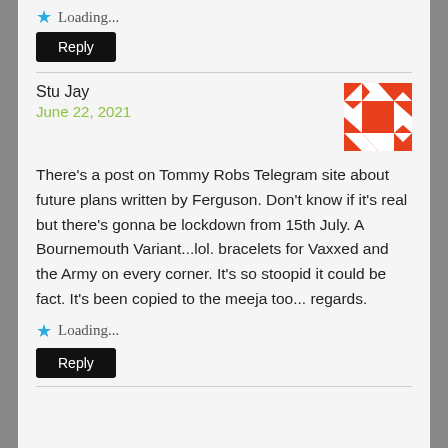Loading...
Reply
Stu Jay
June 22, 2021
[Figure (illustration): Red and white geometric avatar icon with triangular pattern around an orange square]
There's a post on Tommy Robs Telegram site about future plans written by Ferguson. Don't know if it's real but there's gonna be lockdown from 15th July. A Bournemouth Variant...lol. bracelets for Vaxxed and the Army on every corner. It's so stoopid it could be fact. It's been copied to the meeja too... regards.
Loading...
Reply